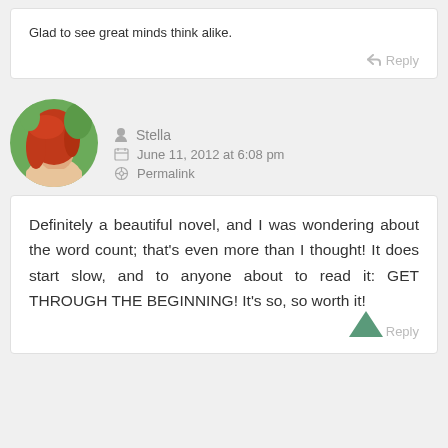Glad to see great minds think alike.
Reply
[Figure (photo): Circular avatar photo of a woman with red hair against a green background]
Stella
June 11, 2012 at 6:08 pm
Permalink
Definitely a beautiful novel, and I was wondering about the word count; that's even more than I thought! It does start slow, and to anyone about to read it: GET THROUGH THE BEGINNING! It's so, so worth it!
Reply